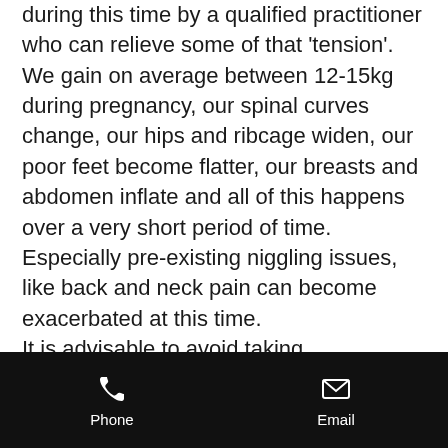during this time by a qualified practitioner who can relieve some of that 'tension'. We gain on average between 12-15kg during pregnancy, our spinal curves change, our hips and ribcage widen, our poor feet become flatter, our breasts and abdomen inflate and all of this happens over a very short period of time. Especially pre-existing niggling issues, like back and neck pain can become exacerbated at this time. It is advisable to avoid taking pharmaceuticals during pregnancy. Seeking osteopathic treatment is great option as not only the pain is treated
Phone   Email